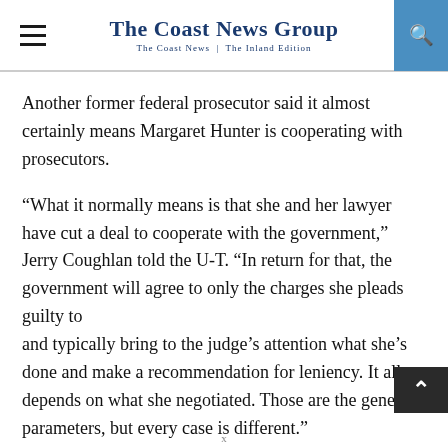The Coast News Group — The Coast News | The Inland Edition
Another former federal prosecutor said it almost certainly means Margaret Hunter is cooperating with prosecutors.
“What it normally means is that she and her lawyer have cut a deal to cooperate with the government,” Jerry Coughlan told the U-T. “In return for that, the government will agree to only the charges she pleads guilty to and typically bring to the judge’s attention what she’s done and make a recommendation for leniency. It all depends on what she negotiated. Those are the general parameters, but every case is different.”
x